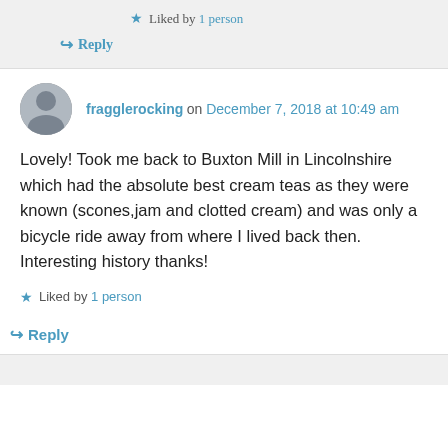★ Liked by 1 person
↳ Reply
fragglerocking on December 7, 2018 at 10:49 am
Lovely! Took me back to Buxton Mill in Lincolnshire which had the absolute best cream teas as they were known (scones,jam and clotted cream) and was only a bicycle ride away from where I lived back then. Interesting history thanks!
★ Liked by 1 person
↳ Reply